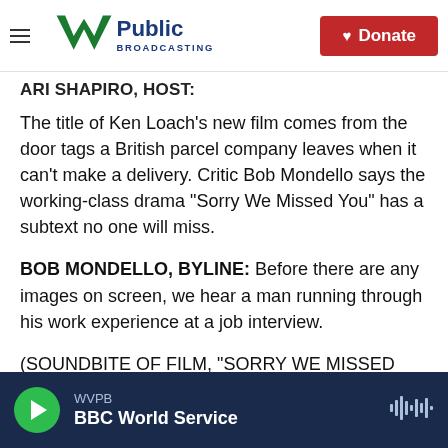W Public Broadcasting — Donate
ARI SHAPIRO, HOST:
The title of Ken Loach's new film comes from the door tags a British parcel company leaves when it can't make a delivery. Critic Bob Mondello says the working-class drama "Sorry We Missed You" has a subtext no one will miss.
BOB MONDELLO, BYLINE: Before there are any images on screen, we hear a man running through his work experience at a job interview.
(SOUNDBITE OF FILM, "SORRY WE MISSED YOU")
WVPB — BBC World Service